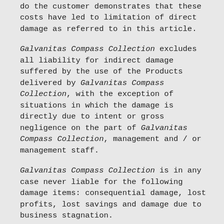do the customer demonstrates that these costs have led to limitation of direct damage as referred to in this article.
Galvanitas Compass Collection excludes all liability for indirect damage suffered by the use of the Products delivered by Galvanitas Compass Collection, with the exception of situations in which the damage is directly due to intent or gross negligence on the part of Galvanitas Compass Collection, management and / or management staff.
Galvanitas Compass Collection is in any case never liable for the following damage items: consequential damage, lost profits, lost savings and damage due to business stagnation.